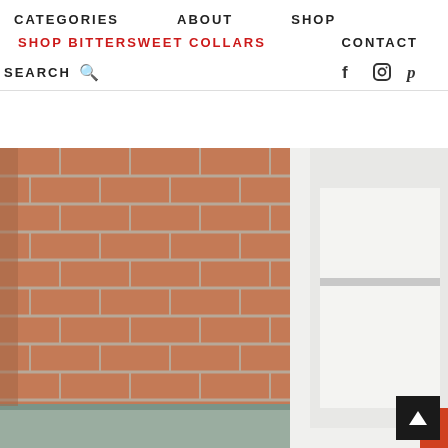CATEGORIES   ABOUT   SHOP   SHOP BITTERSWEET COLLARS   CONTACT
SEARCH
[Figure (photo): Outdoor photo of a person in a white dress standing against a red brick wall. The image occupies the lower portion of the page.]